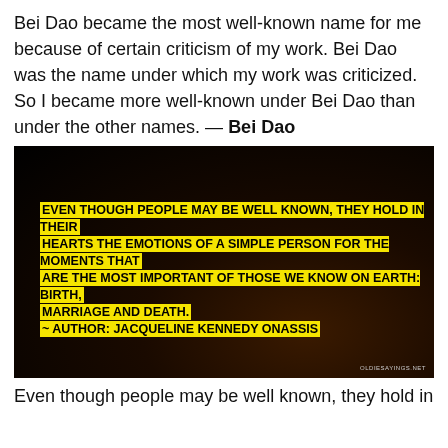Bei Dao became the most well-known name for me because of certain criticism of my work. Bei Dao was the name under which my work was criticized. So I became more well-known under Bei Dao than under the other names. — Bei Dao
[Figure (photo): Dark background image (appears to be a dimly lit room/scene) with yellow highlighted text overlay reading: 'EVEN THOUGH PEOPLE MAY BE WELL KNOWN, THEY HOLD IN THEIR HEARTS THE EMOTIONS OF A SIMPLE PERSON FOR THE MOMENTS THAT ARE THE MOST IMPORTANT OF THOSE WE KNOW ON EARTH: BIRTH, MARRIAGE AND DEATH. ~ AUTHOR: JACQUELINE KENNEDY ONASSIS'. Small watermark in bottom-right reads 'OLDIESAYINGS.NET'.]
Even though people may be well known, they hold in